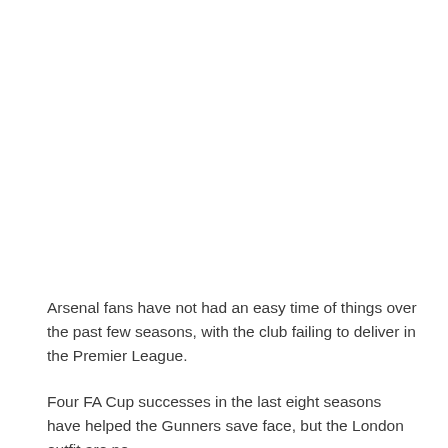Arsenal fans have not had an easy time of things over the past few seasons, with the club failing to deliver in the Premier League.
Four FA Cup successes in the last eight seasons have helped the Gunners save face, but the London outfit are no